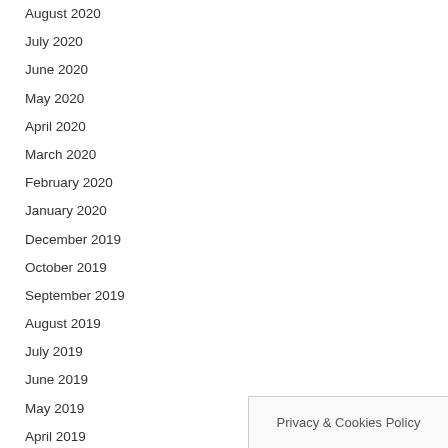August 2020
July 2020
June 2020
May 2020
April 2020
March 2020
February 2020
January 2020
December 2019
October 2019
September 2019
August 2019
July 2019
June 2019
May 2019
April 2019
March 2019
Privacy & Cookies Policy